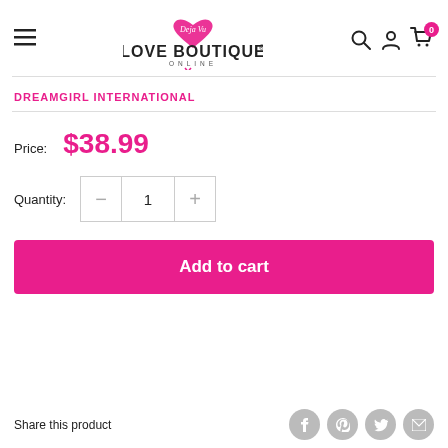[Figure (logo): Deja Vu Love Boutique Online logo with pink heart and text]
DREAMGIRL INTERNATIONAL
Price: $38.99
Quantity: 1
Add to cart
Share this product